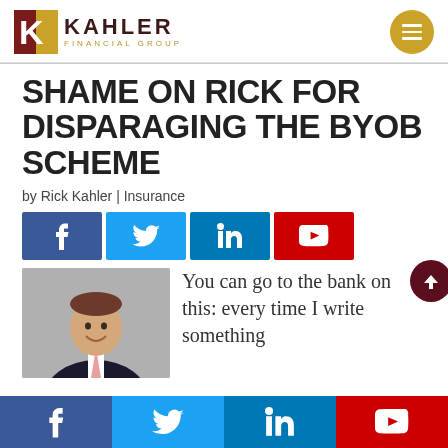[Figure (logo): Kahler Financial Group logo with K icon and gold 'FINANCIAL GROUP' text]
SHAME ON RICK FOR DISPARAGING THE BYOB SCHEME
by Rick Kahler | Insurance
[Figure (infographic): Social share buttons: Facebook, Twitter, LinkedIn, YouTube]
[Figure (photo): Photo of Rick Kahler smiling in a dark suit]
You can go to the bank on this: every time I write something
[Figure (infographic): Bottom social share bar: Facebook, Twitter, LinkedIn, YouTube]